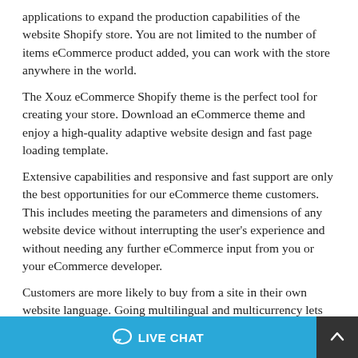applications to expand the production capabilities of the website Shopify store. You are not limited to the number of items eCommerce product added, you can work with the store anywhere in the world.
The Xouz eCommerce Shopify theme is the perfect tool for creating your store. Download an eCommerce theme and enjoy a high-quality adaptive website design and fast page loading template.
Extensive capabilities and responsive and fast support are only the best opportunities for our eCommerce theme customers. This includes meeting the parameters and dimensions of any website device without interrupting the user's experience and without needing any further eCommerce input from you or your eCommerce developer.
Customers are more likely to buy from a site in their own website language. Going multilingual and multicurrency lets you reach website customers all over the world—and bump up your e